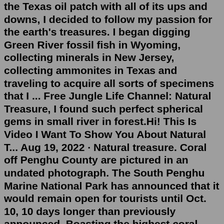the Texas oil patch with all of its ups and downs, I decided to follow my passion for the earth's treasures. I began digging Green River fossil fish in Wyoming, collecting minerals in New Jersey, collecting ammonites in Texas and traveling to acquire all sorts of specimens that I ... Free Jungle Life Channel: Natural Treasure, I found such perfect spherical gems in small river in forest.Hi! This Is Video I Want To Show You About Natural T... Aug 19, 2022 · Natural treasure. Coral off Penghu County are pictured in an undated photograph. The South Penghu Marine National Park has announced that it would remain open for tourists until Oct. 10, 10 days longer than previously announced. Boasting the highest coral coverage in Penghu, the marine park has gained popularity among divers and boosted revenue ... Shop Natural Treasures online at Vitacost.com. Enjoy big savings and have these healthy essentials delivered to your door! ... Natural Sources (14) Organyc (14 ... Natural Treasures National Treasures - Download itinerary Embark on a half-day's journey of quiet